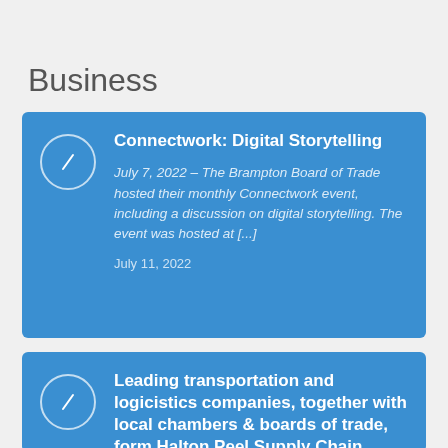Business
Connectwork: Digital Storytelling
July 7, 2022 – The Brampton Board of Trade hosted their monthly Connectwork event, including a discussion on digital storytelling. The event was hosted at [...]
July 11, 2022
Leading transportation and logicistics companies, together with local chambers & boards of trade, form Halton Peel Supply Chain Council